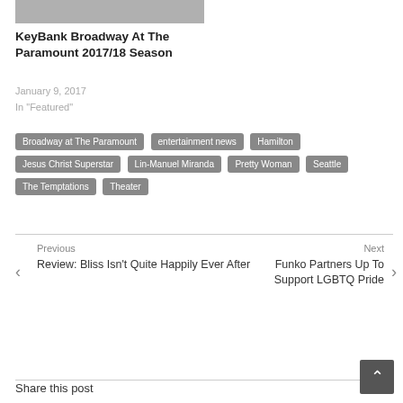[Figure (photo): A group photo, partially visible at top of page]
KeyBank Broadway At The Paramount 2017/18 Season
January 9, 2017
In "Featured"
Broadway at The Paramount
entertainment news
Hamilton
Jesus Christ Superstar
Lin-Manuel Miranda
Pretty Woman
Seattle
The Temptations
Theater
Previous
Review: Bliss Isn't Quite Happily Ever After
Next
Funko Partners Up To Support LGBTQ Pride
Share this post